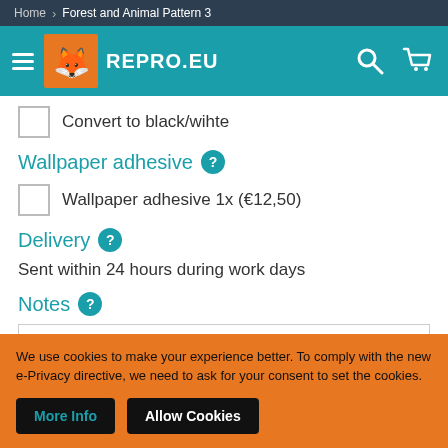Home > Forest and Animal Pattern 3
[Figure (logo): REPRO.EU logo with orange fox icon on teal navigation bar, hamburger menu, search and cart icons]
Convert to black/wihte
Wallpaper adhesive ?
Wallpaper adhesive 1x (€12,50)
Delivery ?
Sent within 24 hours during work days
Notes ?
We use cookies to make your experience better. To comply with the new e-Privacy directive, we need to ask for your consent to set the cookies.